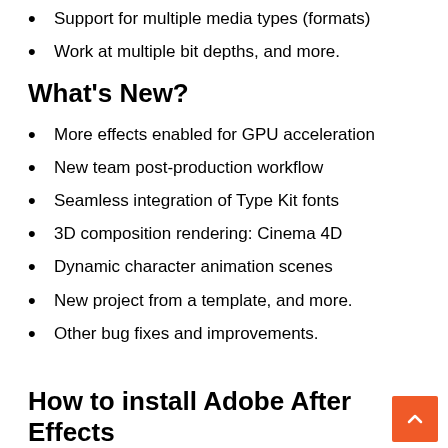Support for multiple media types (formats)
Work at multiple bit depths, and more.
What's New?
More effects enabled for GPU acceleration
New team post-production workflow
Seamless integration of Type Kit fonts
3D composition rendering: Cinema 4D
Dynamic character animation scenes
New project from a template, and more.
Other bug fixes and improvements.
How to install Adobe After Effects